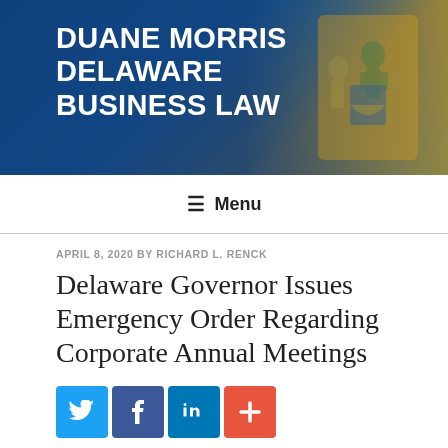DUANE MORRIS DELAWARE BUSINESS LAW
☰ Menu
APRIL 8, 2020 BY RICHARD L. RENCK
Delaware Governor Issues Emergency Order Regarding Corporate Annual Meetings
[Figure (infographic): Social sharing buttons: Twitter (blue), Facebook (dark blue), LinkedIn (blue), More/plus (orange-red)]
I recently discussed on this page how the 2020 corporate annual meeting season was facing its own challenges in the midst of the global pandemic and